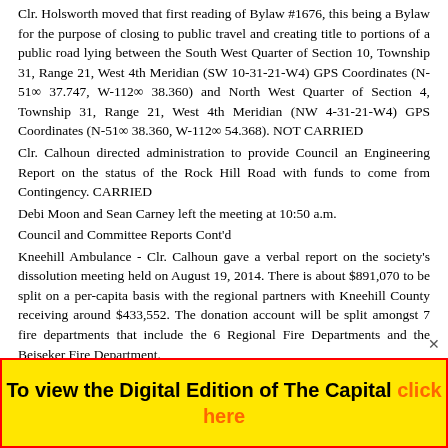Clr. Holsworth moved that first reading of Bylaw #1676, this being a Bylaw for the purpose of closing to public travel and creating title to portions of a public road lying between the South West Quarter of Section 10, Township 31, Range 21, West 4th Meridian (SW 10-31-21-W4) GPS Coordinates (N-51∞ 37.747, W-112∞ 38.360) and North West Quarter of Section 4, Township 31, Range 21, West 4th Meridian (NW 4-31-21-W4) GPS Coordinates (N-51∞ 38.360, W-112∞ 54.368). NOT CARRIED
Clr. Calhoun directed administration to provide Council an Engineering Report on the status of the Rock Hill Road with funds to come from Contingency. CARRIED
Debi Moon and Sean Carney left the meeting at 10:50 a.m.
Council and Committee Reports Cont'd
Kneehill Ambulance - Clr. Calhoun gave a verbal report on the society's dissolution meeting held on August 19, 2014. There is about $891,070 to be split on a per-capita basis with the regional partners with Kneehill County receiving around $433,552. The donation account will be split amongst 7 fire departments that include the 6 Regional Fire Departments and the Beiseker Fire Department.
Kneehill Regional Doctor Recruitment and Retention Update - Verbal report was given by Reeve Long. He reminded Council on the upcoming Doctor R &R BBQ being held on September 6. The recruitment committee facilitated a meeting with a recent medical...
To view the Digital Edition of The Capital click here